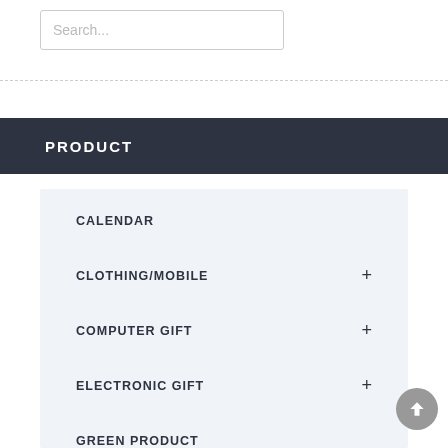[Figure (screenshot): Search input box with placeholder text 'Search...']
PRODUCT
CALENDAR
CLOTHING/MOBILE +
COMPUTER GIFT +
ELECTRONIC GIFT +
GREEN PRODUCT
HOUSEWARE +